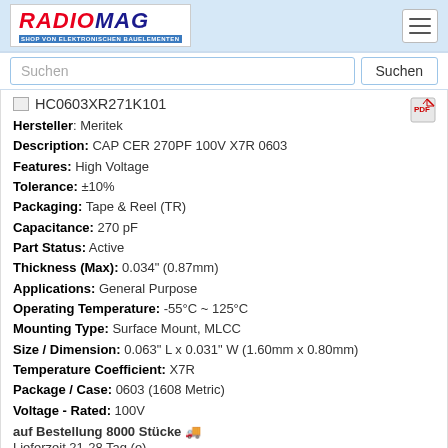[Figure (logo): RADIOMAG logo with red RADIO and blue MAG text, subtitle: SHOP VON ELEKTRONISCHEN BAUELEMENTEN]
Suchen
HC0603XR271K101
Hersteller: Meritek
Description: CAP CER 270PF 100V X7R 0603
Features: High Voltage
Tolerance: ±10%
Packaging: Tape & Reel (TR)
Capacitance: 270 pF
Part Status: Active
Thickness (Max): 0.034" (0.87mm)
Applications: General Purpose
Operating Temperature: -55°C ~ 125°C
Mounting Type: Surface Mount, MLCC
Size / Dimension: 0.063" L x 0.031" W (1.60mm x 0.80mm)
Temperature Coefficient: X7R
Package / Case: 0603 (1608 Metric)
Voltage - Rated: 100V
auf Bestellung 8000 Stücke
Lieferzeit 21-28 Tag (e)